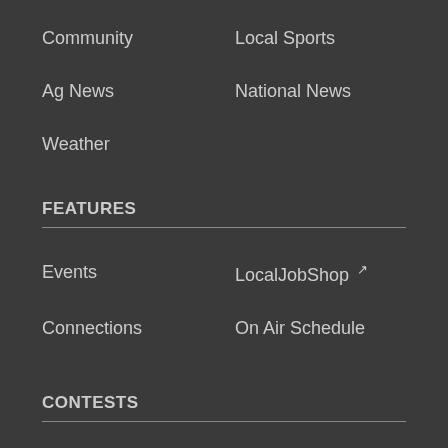Community
Local Sports
Ag News
National News
Weather
FEATURES
Events
LocalJobShop ↗
Connections
On Air Schedule
CONTESTS
Date Night on Daniel
McDonald's Coffee Break